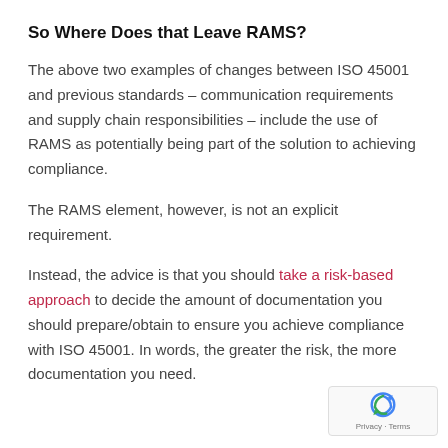So Where Does that Leave RAMS?
The above two examples of changes between ISO 45001 and previous standards – communication requirements and supply chain responsibilities – include the use of RAMS as potentially being part of the solution to achieving compliance.
The RAMS element, however, is not an explicit requirement.
Instead, the advice is that you should take a risk-based approach to decide the amount of documentation you should prepare/obtain to ensure you achieve compliance with ISO 45001. In words, the greater the risk, the more documentation you need.